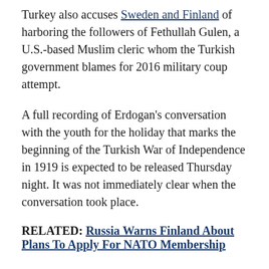Turkey also accuses Sweden and Finland of harboring the followers of Fethullah Gulen, a U.S.-based Muslim cleric whom the Turkish government blames for 2016 military coup attempt.
A full recording of Erdogan's conversation with the youth for the holiday that marks the beginning of the Turkish War of Independence in 1919 is expected to be released Thursday night. It was not immediately clear when the conversation took place.
RELATED: Russia Warns Finland About Plans To Apply For NATO Membership
In the remarks made available earlier Thursday, Erdogan accused the two prospective NATO members and especially Sweden of being "a focus of terror...